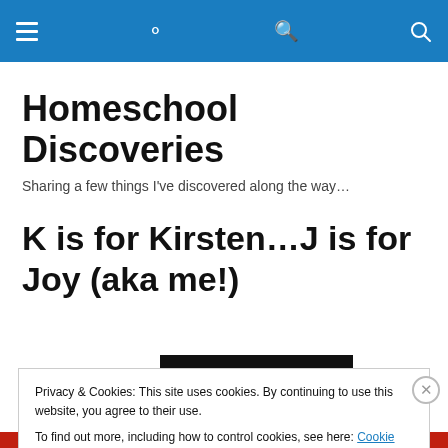Homeschool Discoveries - navigation header bar
Homeschool Discoveries
Sharing a few things I've discovered along the way...
K is for Kirsten…J is for Joy (aka me!)
[Figure (screenshot): Dark thumbnail image preview with an orange circle dot visible, partially obscured by cookie banner]
Privacy & Cookies: This site uses cookies. By continuing to use this website, you agree to their use.
To find out more, including how to control cookies, see here: Cookie Policy
Close and accept